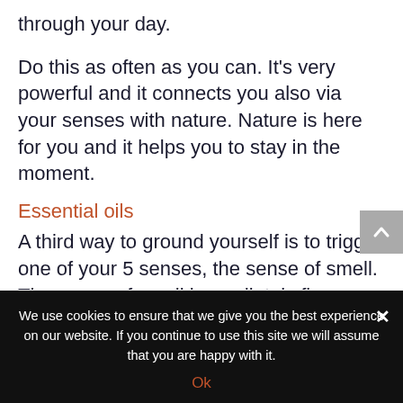through your day.
Do this as often as you can. It’s very powerful and it connects you also via your senses with nature. Nature is here for you and it helps you to stay in the moment.
Essential oils
A third way to ground yourself is to trigger one of your 5 senses, the sense of smell. The sense of smell immediately fires receptors in your brain and goes to the
We use cookies to ensure that we give you the best experience on our website. If you continue to use this site we will assume that you are happy with it.
Ok